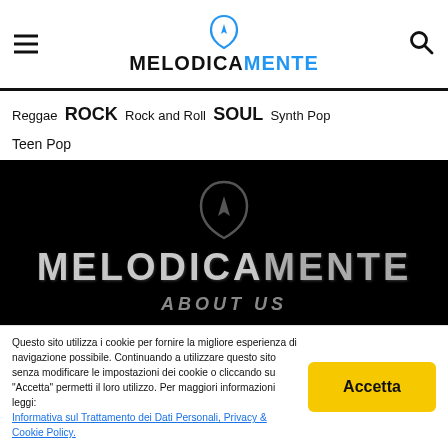MELODICAMENTE
Reggae  Rock  Rock and Roll  Soul  Synth Pop  Teen Pop
[Figure (logo): MelodicaMente logo on black background with guitar pick icon and lightning bolt, large distressed white text MELODICAMENTE]
ABOUT US
Questo sito utilizza i cookie per fornire la migliore esperienza di navigazione possibile. Continuando a utilizzare questo sito senza modificare le impostazioni dei cookie o cliccando su "Accetta" permetti il loro utilizzo. Per maggiori informazioni leggi: Informativa sul Trattamento dei Dati Personali, Privacy & Cookie Policy.